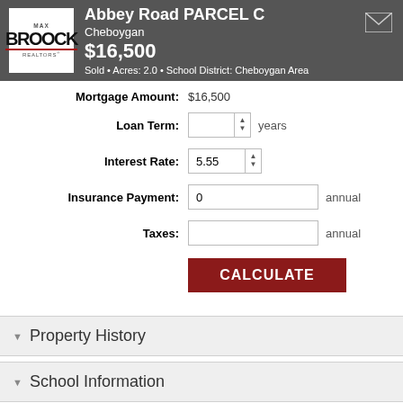Abbey Road PARCEL C | Cheboygan | $16,500 | Sold • Acres: 2.0 • School District: Cheboygan Area
Mortgage Amount: $16,500
Loan Term: [input] years
Interest Rate: 5.55
Insurance Payment: 0 annual
Taxes: [input] annual
CALCULATE
Property History
School Information
Local Business